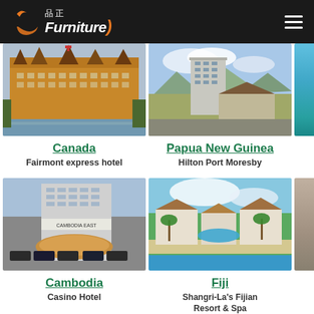品正 Furniture
[Figure (photo): Photo of Fairmont express hotel in Canada - grand historic building by waterfront]
Canada
Fairmont express hotel
[Figure (photo): Aerial photo of Hilton Port Moresby hotel in Papua New Guinea]
Papua New Guinea
Hilton Port Moresby
[Figure (photo): Photo of Casino Hotel in Cambodia - modern building with circular entrance canopy]
Cambodia
Casino Hotel
[Figure (photo): Aerial photo of Shangri-La's Fijian Resort & Spa in Fiji - beachfront resort with pool]
Fiji
Shangri-La's Fijian Resort & Spa